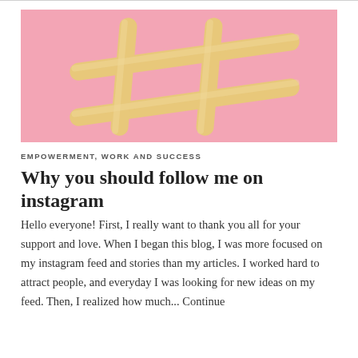[Figure (photo): Photo of four breadstick-like rods arranged in a hashtag (#) symbol pattern on a pink background.]
EMPOWERMENT, WORK AND SUCCESS
Why you should follow me on instagram
Hello everyone! First, I really want to thank you all for your support and love. When I began this blog, I was more focused on my instagram feed and stories than my articles. I worked hard to attract people, and everyday I was looking for new ideas on my feed. Then, I realized how much... Continue